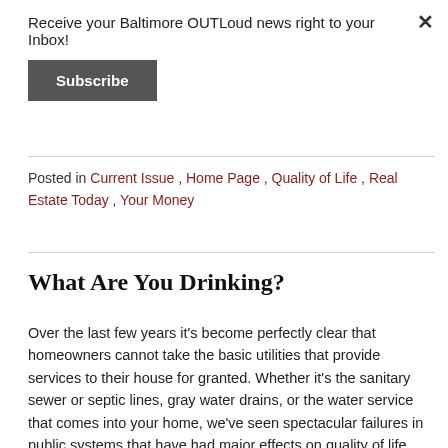Receive your Baltimore OUTLoud news right to your Inbox!
Subscribe
Posted in Current Issue , Home Page , Quality of Life , Real Estate Today , Your Money
What Are You Drinking?
Over the last few years it's become perfectly clear that homeowners cannot take the basic utilities that provide services to their house for granted. Whether it's the sanitary sewer or septic lines, gray water drains, or the water service that comes into your home, we've seen spectacular failures in public systems that have had major effects on quality of life, health, and property value. 1) Flint, Michigan is only the most publicized water system failure. There have been and probably will be